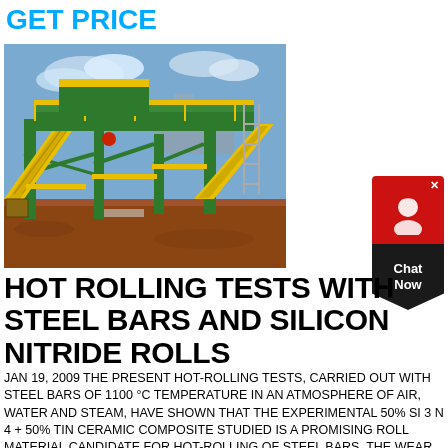GET PRICE
[Figure (photo): Large industrial hot-rolling mill machine with yellow and green steel frame structure, conveyor belts, on a red dirt construction site with blue sky background.]
[Figure (other): Red and dark chat widget button with headset icon and 'Chat Now' label, X close button in top-right corner.]
HOT ROLLING TESTS WITH STEEL BARS AND SILICON NITRIDE ROLLS
JAN 19, 2009 THE PRESENT HOT-ROLLING TESTS, CARRIED OUT WITH STEEL BARS OF 1100 °C TEMPERATURE IN AN ATMOSPHERE OF AIR, WATER AND STEAM, HAVE SHOWN THAT THE EXPERIMENTAL 50% SI 3 N 4 + 50% TIN CERAMIC COMPOSITE STUDIED IS A PROMISING ROLL MATERIAL CANDIDATE FOR HOT-ROLLING OF STEEL BARS. THE WEAR OF THE SI 3 N 4 – TIN MATERIAL WAS LOWER THAN THE WEAR OF A